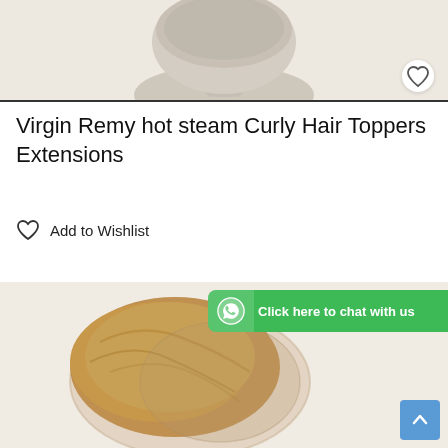[Figure (photo): Hair topper/wig piece displayed on a mannequin head, light beige/cream color, top portion of mannequin visible on white background]
Virgin Remy hot steam Curly Hair Toppers Extensions
Add to Wishlist
[Figure (photo): Hair topper extension piece with blonde/golden brown curly hair on white background, with WhatsApp chat button overlay reading 'Click here to chat with us' and a scroll-to-top arrow button]